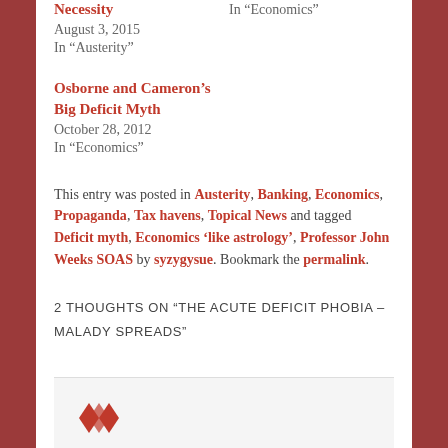Necessity
August 3, 2015
In "Austerity"
In "Economics"
Osborne and Cameron's Big Deficit Myth
October 28, 2012
In "Economics"
This entry was posted in Austerity, Banking, Economics, Propaganda, Tax havens, Topical News and tagged Deficit myth, Economics 'like astrology', Professor John Weeks SOAS by syzygysue. Bookmark the permalink.
2 THOUGHTS ON “THE ACUTE DEFICIT PHOBIA – MALADY SPREADS”